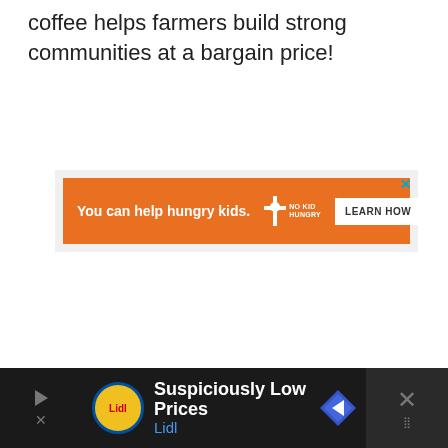coffee helps farmers build strong communities at a bargain price!
[Figure (other): Orange advertisement banner: 'You can help hungry kids.' with No Kid Hungry logo and 'LEARN HOW' button, with close X in top right corner]
[Figure (other): Bottom dark bar advertisement for Lidl: 'Suspiciously Low Prices' with Lidl logo, blue subtitle 'Lidl', direction arrow icon, and close button on the right]